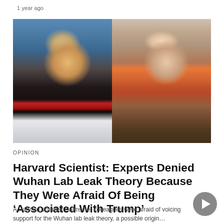1 year ago
[Figure (photo): Split image: on the left, a man with reddish-blonde hair and a red tie with eyes closed at a podium; on the right, an Asian woman wearing an orange top.]
OPINION
Harvard Scientist: Experts Denied Wuhan Lab Leak Theory Because They Were Afraid Of Being ‘Associated With Trump’
A Harvard scientist claims her colleagues were afraid of voicing support for the Wuhan lab leak theory, a possible origin…